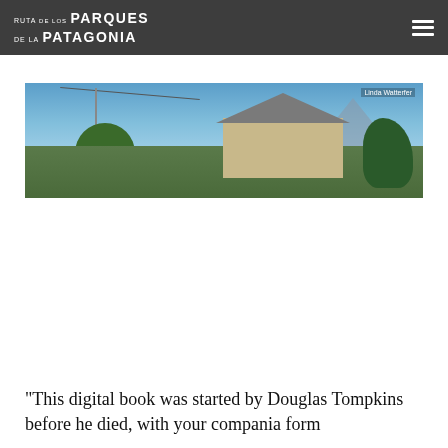RUTA DE LOS PARQUES DE LA PATAGONIA
[Figure (photo): Wide panoramic photograph of a small Patagonian town with houses, utility poles with wires, trees, and mountains in the background under a blue sky. Photo credit: Linda Watterfer]
“This digital book was started by Douglas Tompkins before he died, with your compania form” (text continues below fold)